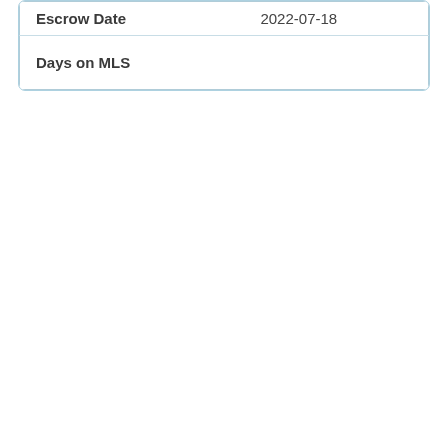| Escrow Date | 2022-07-18 |
| Days on MLS |  |